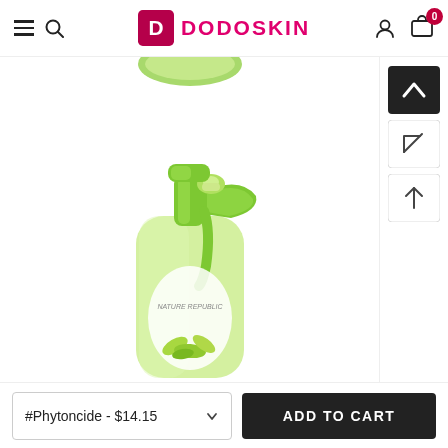DODOSKIN — navigation header with menu, search, account, and cart (0 items)
[Figure (photo): Green spray bottle product (Nature Republic Phytoncide) with green trigger spray pump and botanical label, shown on white background. Partial view of a round green cap visible at top.]
#Phytoncide - $14.15
ADD TO CART